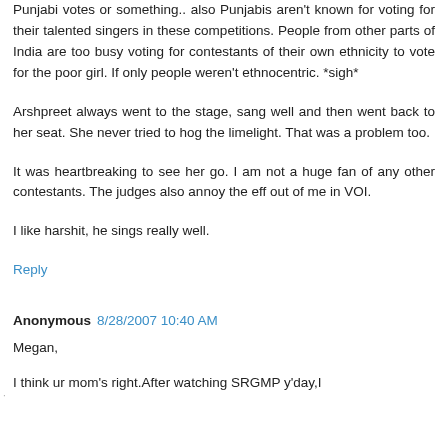Punjabi votes or something.. also Punjabis aren't known for voting for their talented singers in these competitions. People from other parts of India are too busy voting for contestants of their own ethnicity to vote for the poor girl. If only people weren't ethnocentric. *sigh*
Arshpreet always went to the stage, sang well and then went back to her seat. She never tried to hog the limelight. That was a problem too.
It was heartbreaking to see her go. I am not a huge fan of any other contestants. The judges also annoy the eff out of me in VOI.
I like harshit, he sings really well.
Reply
Anonymous 8/28/2007 10:40 AM
Megan,
I think ur mom's right.After watching SRGMP y'day,I